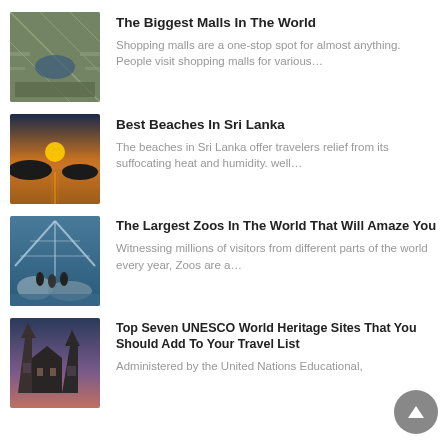[Figure (photo): Interior of a large shopping mall with atrium and crowds]
The Biggest Malls In The World
Shopping malls are a one-stop spot for almost anything. People visit shopping malls for various…
[Figure (photo): Sunset over a beach in Sri Lanka with silhouettes]
Best Beaches In Sri Lanka
The beaches in Sri Lanka offer travelers relief from its suffocating heat and humidity. well…
[Figure (photo): Large zoo enclosure with glass roof and animals]
The Largest Zoos In The World That Will Amaze You
Witnessing millions of visitors from different parts of the world every year, Zoos are a…
[Figure (photo): Gothic cathedral buildings at dusk]
Top Seven UNESCO World Heritage Sites That You Should Add To Your Travel List
Administered by the United Nations Educational,